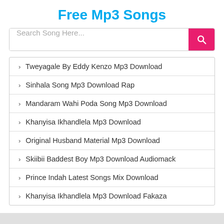Free Mp3 Songs
[Figure (other): Search bar with text 'Search Song Here...' and a pink search button with magnifying glass icon]
Tweyagale By Eddy Kenzo Mp3 Download
Sinhala Song Mp3 Download Rap
Mandaram Wahi Poda Song Mp3 Download
Khanyisa Ikhandlela Mp3 Download
Original Husband Material Mp3 Download
Skiibii Baddest Boy Mp3 Download Audiomack
Prince Indah Latest Songs Mix Download
Khanyisa Ikhandlela Mp3 Download Fakaza
© Copyright 2022. All Rights Reserved. officialicemen.com